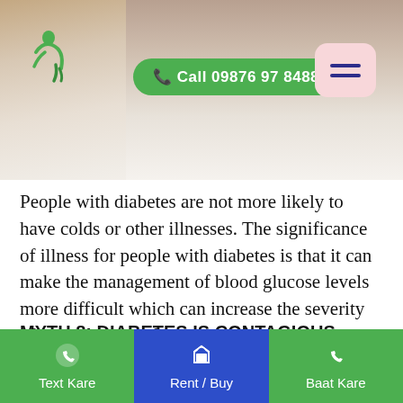[Figure (photo): Person lying in bed covered with white blanket/sheets, photo taken from above. Green logo of a person figure in top-left. Green call button and pink menu button overlaid on image.]
People with diabetes are not more likely to have colds or other illnesses. The significance of illness for people with diabetes is that it can make the management of blood glucose levels more difficult which can increase the severity of an illness or infection.
MYTH 8: DIABETES IS CONTAGIOUS
Something of a classic playground myth, diabetes cannot be caught off
Text Kare | Rent / Buy | Baat Kare